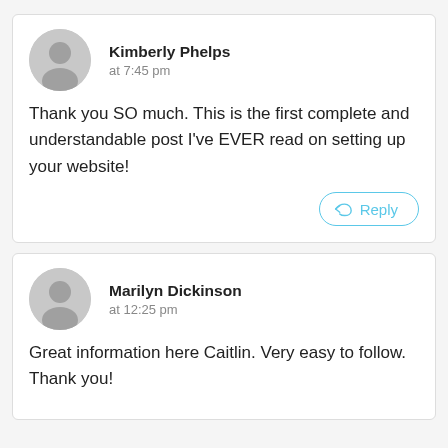Kimberly Phelps
at 7:45 pm
Thank you SO much. This is the first complete and understandable post I've EVER read on setting up your website!
Marilyn Dickinson
at 12:25 pm
Great information here Caitlin. Very easy to follow. Thank you!